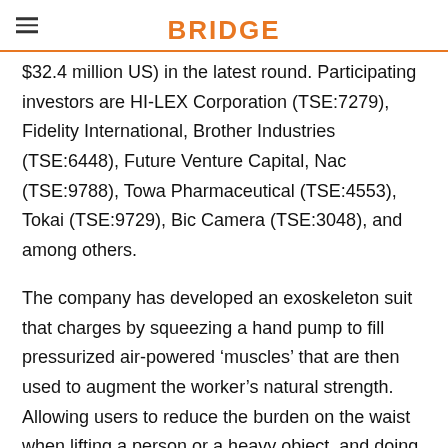BRIDGE
$32.4 million US) in the latest round. Participating investors are HI-LEX Corporation (TSE:7279), Fidelity International, Brother Industries (TSE:6448), Future Venture Capital, Nac (TSE:9788), Towa Pharmaceutical (TSE:4553), Tokai (TSE:9729), Bic Camera (TSE:3048), and among others.
The company has developed an exoskeleton suit that charges by squeezing a hand pump to fill pressurized air-powered ‘muscles’ that are then used to augment the worker’s natural strength. Allowing users to reduce the burden on the waist when lifting a person or a heavy object, and doing other tasks in a half-crouching position, it can help prevent their back pain and improve working